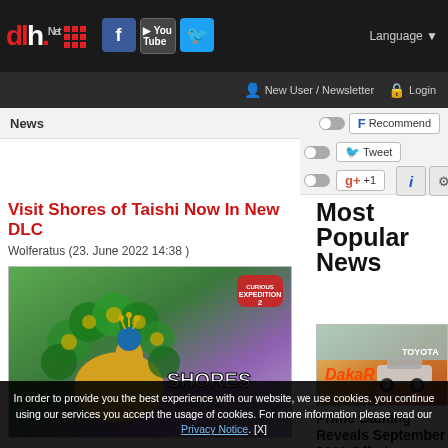dlh.Net — Language ▼ | New User / Newsletter | Login
News
Visit Shores of Taishi Now In New DLC
Wolferatus (23. June 2022 14:38 )
[Figure (illustration): Shores of Taishi DLC promotional image showing a peacock character with colorful feathers and the text SHORES of TAISHI and Curious Expedition 2 logo]
Most Popular News
[Figure (photo): Dakar rally car racing through desert terrain, Toyota branding visible]
Prime Gaming Reveals September 2022 Offerings
In order to provide you the best experience with our website, we use cookies. you continue using our services you accept the usage of cookies. For more information please read our Privacy Notice. [X]